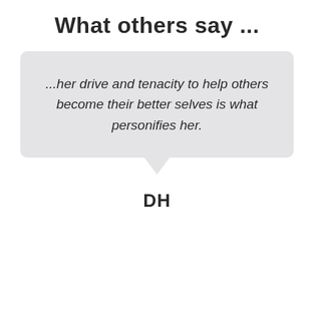What others say ...
...her drive and tenacity to help others become their better selves is what personifies her.
DH